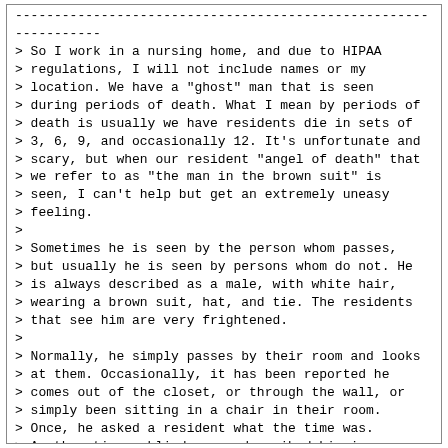----------------------------------------------------------------
> So I work in a nursing home, and due to HIPAA
> regulations, I will not include names or my
> location. We have a "ghost" man that is seen
> during periods of death. What I mean by periods of
> death is usually we have residents die in sets of
> 3, 6, 9, and occasionally 12. It's unfortunate and
> scary, but when our resident "angel of death" that
> we refer to as "the man in the brown suit" is
> seen, I can't help but get an extremely uneasy
> feeling.
>
> Sometimes he is seen by the person whom passes,
> but usually he is seen by persons whom do not. He
> is always described as a male, with white hair,
> wearing a brown suit, hat, and tie. The residents
> that see him are very frightened.
>
> Normally, he simply passes by their room and looks
> at them. Occasionally, it has been reported he
> comes out of the closet, or through the wall, or
> simply been sitting in a chair in their room.
> Once, he asked a resident what the time was.
> Another time a blind woman described him in
> detail. I would not have believed it, had I not
> already heard the stories.
>
> He is seen during all hours of the day, but more
> often at night; however, every time he is reported
> as being seen, someone passes away. Nurses and
> CNA's have seen him as well, like walk into a
> room, but then he is gone when they investigate. I